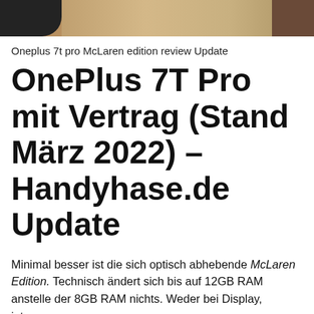[Figure (photo): Cropped top portion of a photo showing a textured carpet or rug background with a dark circular object on the left and a person partially visible on the right]
Oneplus 7t pro McLaren edition review Update
OnePlus 7T Pro mit Vertrag (Stand März 2022) – Handyhase.de Update
Minimal besser ist die sich optisch abhebende McLaren Edition. Technisch ändert sich bis auf 12GB RAM anstelle der 8GB RAM nichts. Weder bei Display, internem ...